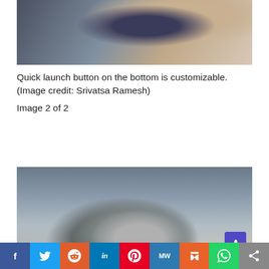[Figure (photo): Close-up photo of hands adjusting or pressing a button on the side of a smartwatch, showing the quick launch button on the bottom of the watch]
Quick launch button on the bottom is customizable. (Image credit: Srivatsa Ramesh)
Image 2 of 2
[Figure (photo): Photo of a person wearing a smartwatch on their wrist, with a blue sweater sleeve visible, the watch showing a notification or payment screen]
f  Twitter  Reddit  in  Pinterest  MW  Mix  WhatsApp  Share